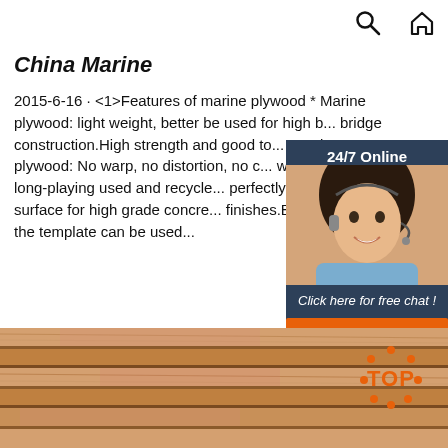🔍 🏠
China Marine
2015-6-16 · <1>Features of marine plywood * Marine plywood: light weight, better be used for high bridge construction.High strength and good to *Marine plywood: No warp, no distortion, no c water-resistant, long-playing used and recycle perfectly smooth surface for high grade concre finishes.Both sides of the template can be used
[Figure (photo): Customer service agent woman with headset smiling, with 24/7 Online label, click here for free chat text, and QUOTATION button on dark blue background]
[Figure (photo): Close-up photograph of marine plywood cross-section showing layered wood grain texture in brown/orange tones, with orange TOP badge overlay]